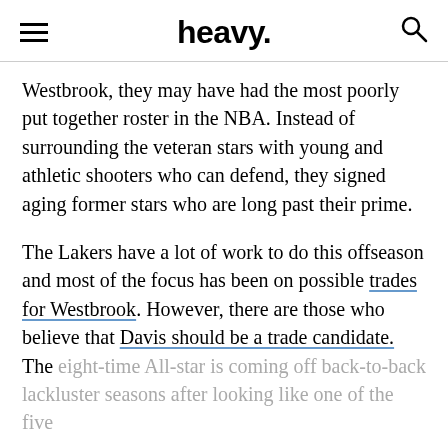heavy.
Westbrook, they may have had the most poorly put together roster in the NBA. Instead of surrounding the veteran stars with young and athletic shooters who can defend, they signed aging former stars who are long past their prime.
The Lakers have a lot of work to do this offseason and most of the focus has been on possible trades for Westbrook. However, there are those who believe that Davis should be a trade candidate. The eight-time All-star is coming off back-to-back lackluster seasons after looking like one of the five